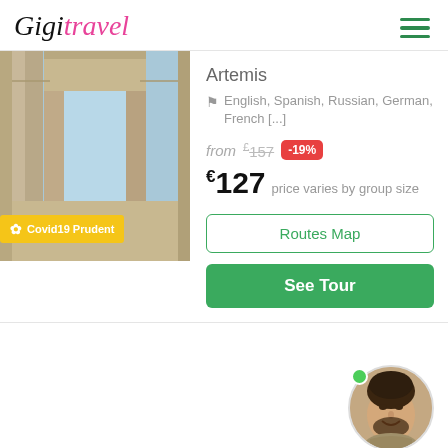[Figure (logo): GigiTravel logo with cursive script, 'Gigi' in black italic and 'travel' in pink italic]
Artemis
English, Spanish, Russian, German, French [...]
from £157 -19%
€127 price varies by group size
Covid19 Prudent
[Figure (photo): Photo of ancient stone architecture (Artemis temple ruins) viewed from below with blue sky visible through columns]
Routes Map
See Tour
[Figure (photo): Circular avatar photo of a young man with beard smiling, with a green online status dot]